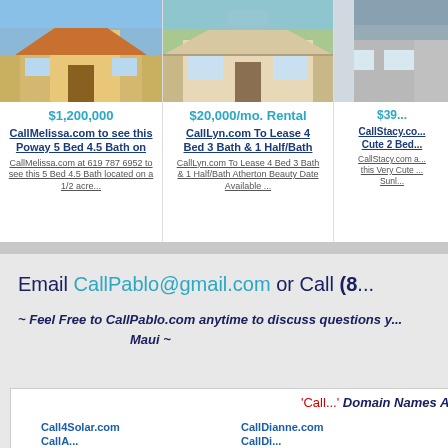[Figure (photo): Photo of a tan/beige house with a wide driveway and desert landscaping]
$1,200,000
CallMelissa.com to see this Poway 5 Bed 4.5 Bath on
CallMelissa.com at 619 787 6952 to see this 5 Bed 4.5 Bath located on a 1/2 acre...
[Figure (photo): Photo of a white colonial-style house with columns and manicured shrubs]
$20,000/mo. Rental
CallLyn.com To Lease 4 Bed 3 Bath & 1 Half/Bath
CallLyn.com To Lease 4 Bed 3 Bath & 1 Half/Bath Atherton Beauty Date Available ...
[Figure (photo): Partial photo of a gray house exterior (cropped on right side)]
$39...
CallStacy.co... Cute 2 Bed...
CallStacy.com a... this Very Cute ... Sunl...
Email CallPablo@gmail.com or Call (8...
~ Feel Free to CallPablo.com anytime to discuss questions y... Maui ~
'Call...' Domain Names Av...
Call4Solar.com
CallDianne.com
CallA...
CallDi...